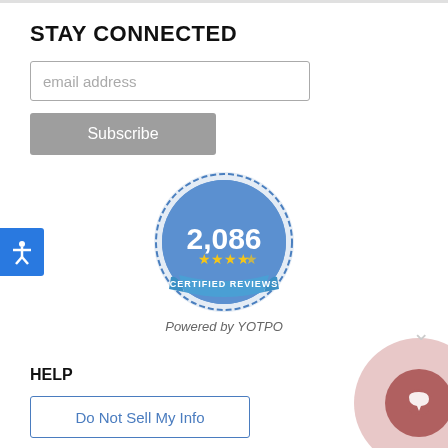STAY CONNECTED
email address
Subscribe
[Figure (infographic): Yotpo certified reviews badge showing 2,086 reviews with 4+ star rating. Text reads '2,086 CERTIFIED REVIEWS'. Below badge: 'Powered by YOTPO']
Powered by YOTPO
HELP
Do Not Sell My Info
INFO